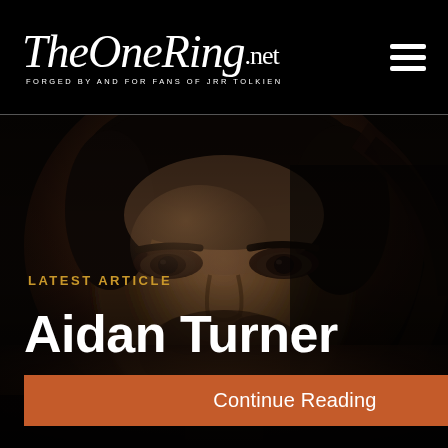TheOneRing.net — FORGED BY AND FOR FANS OF JRR TOLKIEN
[Figure (photo): Close-up portrait of Aidan Turner, a dark-haired man with stubble, shot in dark moody lighting with warm brown tones. The face fills the frame, looking forward.]
LATEST ARTICLE
Aidan Turner
Continue Reading